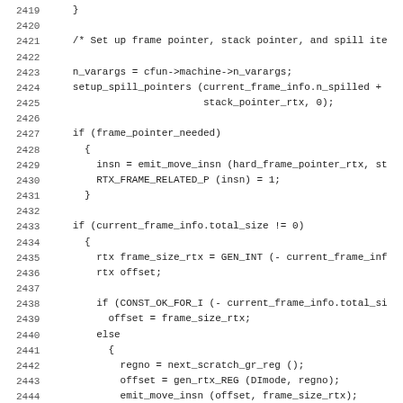Source code listing, lines 2419-2450, showing C function body with frame pointer setup, stack pointer configuration, and spill pointer initialization logic.